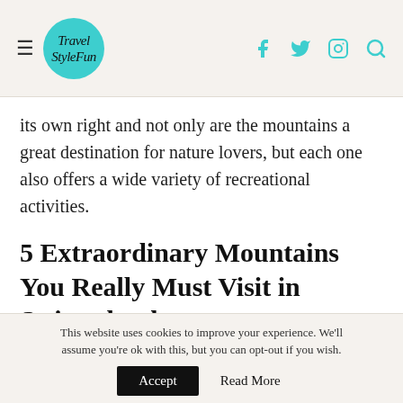TravelStyleFun
its own right and not only are the mountains a great destination for nature lovers, but each one also offers a wide variety of recreational activities.
5 Extraordinary Mountains You Really Must Visit in Switzerland
Mount Titlis – 3,238 metres above sea level
Mount Rigi – 1,798 metres above sea level
Mount Pilatus – 2,128 metres above sea level
This website uses cookies to improve your experience. We'll assume you're ok with this, but you can opt-out if you wish. Accept  Read More